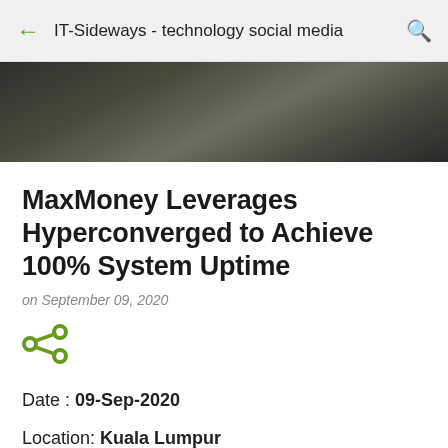IT-Sideways - technology social media
[Figure (photo): Blurred dark hero image banner at the top of the article]
MaxMoney Leverages Hyperconverged to Achieve 100% System Uptime
on September 09, 2020
[Figure (other): Share icon (less-than / share symbol) in olive green]
Date : 09-Sep-2020
Location: Kuala Lumpur
Organization: